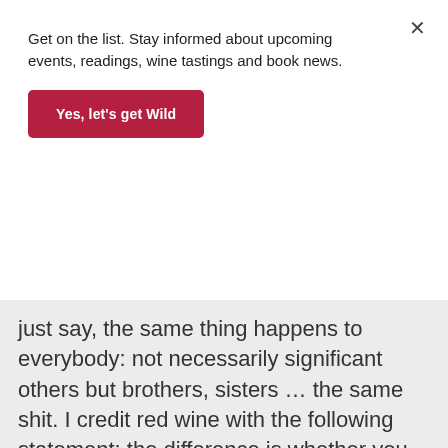Get on the list. Stay informed about upcoming events, readings, wine tastings and book news.
Yes, let's get Wild
just say, the same thing happens to everybody: not necessarily significant others but brothers, sisters … the same shit. I credit red wine with the following statement: the difference is whether you succumb to it or profit (emotionally) from it.